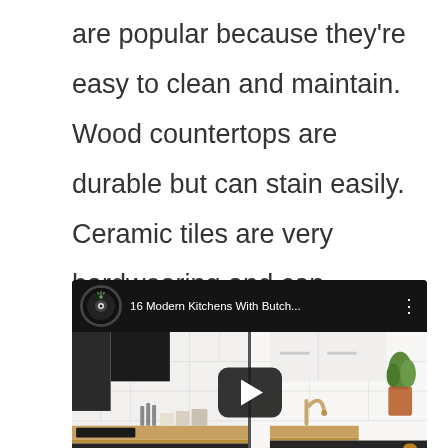are popular because they're easy to clean and maintain. Wood countertops are durable but can stain easily. Ceramic tiles are very hardwearing and can withstand heavy usage.
[Figure (screenshot): YouTube video embed thumbnail showing '16 Modern Kitchens With Butch...' with a kitchen scene featuring wood countertops, black cabinets, white tile backsplash, and a play button overlay.]